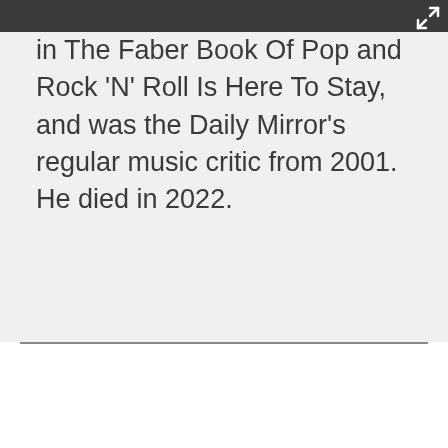in The Faber Book Of Pop and Rock 'N' Roll Is Here To Stay, and was the Daily Mirror's regular music critic from 2001. He died in 2022.